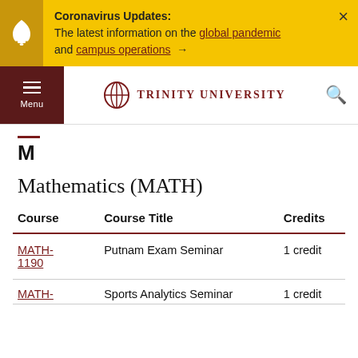Coronavirus Updates: The latest information on the global pandemic and campus operations →
[Figure (logo): Trinity University logo with menu button and search icon navigation bar]
M
Mathematics (MATH)
| Course | Course Title | Credits |
| --- | --- | --- |
| MATH-1190 | Putnam Exam Seminar | 1 credit |
| MATH- | Sports Analytics Seminar | 1 credit |